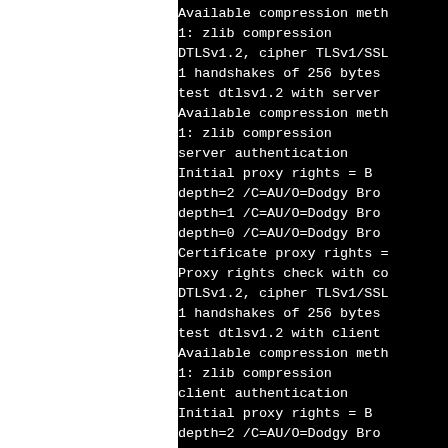[Figure (screenshot): Terminal/console output on black background showing SSL/DTLS test output including compression methods, handshakes, proxy rights, certificate depth info, and authentication details. Left portion of page is white (cropped area).]